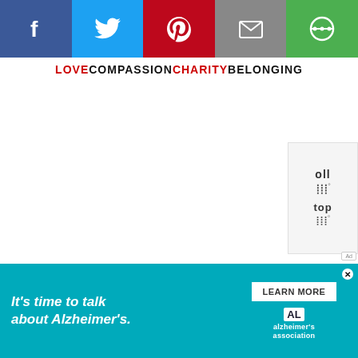[Figure (other): Social media sharing bar with Facebook, Twitter, Pinterest, Email, and a share button icons on colored backgrounds (blue, light blue, red, gray, green)]
LOVE COMPASSION CHARITY BELONGING
[Figure (other): Side widget with 'oll' text, bar/tally marks, 'top' text, and tally marks with degree symbol]
[Figure (other): Advertisement banner: It's time to talk about Alzheimer's. LEARN MORE. Alzheimer's Association logo.]